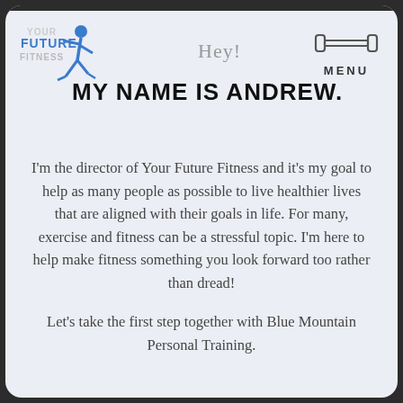[Figure (logo): Your Future Fitness logo with blue running figure and text]
Hey!
[Figure (illustration): Dumbbell icon above MENU text]
MY NAME IS ANDREW.
I'm the director of Your Future Fitness and it's my goal to help as many people as possible to live healthier lives that are aligned with their goals in life. For many, exercise and fitness can be a stressful topic. I'm here to help make fitness something you look forward too rather than dread!
Let's take the first step together with Blue Mountain Personal Training.